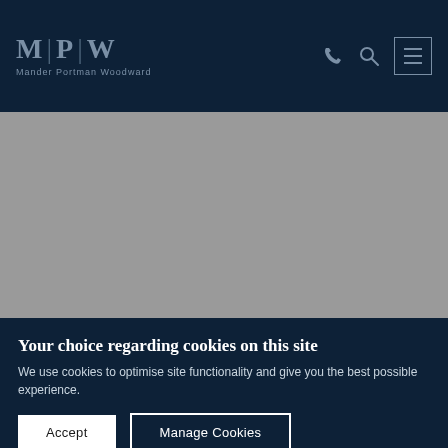M|P|W Mander Portman Woodward
[Figure (photo): Gray placeholder hero image area below the navigation header]
Your choice regarding cookies on this site
We use cookies to optimise site functionality and give you the best possible experience.
Accept | Manage Cookies